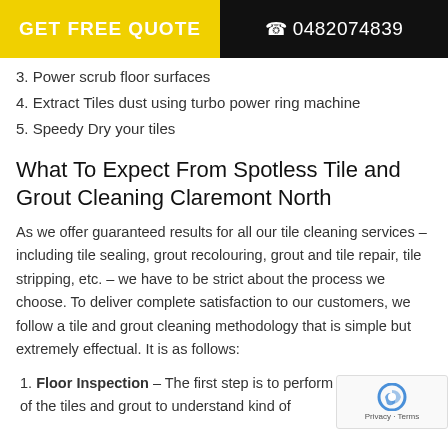GET FREE QUOTE   0482074839
3. Power scrub floor surfaces
4. Extract Tiles dust using turbo power ring machine
5. Speedy Dry your tiles
What To Expect From Spotless Tile and Grout Cleaning Claremont North
As we offer guaranteed results for all our tile cleaning services – including tile sealing, grout recolouring, grout and tile repair, tile stripping, etc. – we have to be strict about the process we choose. To deliver complete satisfaction to our customers, we follow a tile and grout cleaning methodology that is simple but extremely effectual. It is as follows:
1. Floor Inspection – The first step is to perform an inspection of the tiles and grout to understand kind of